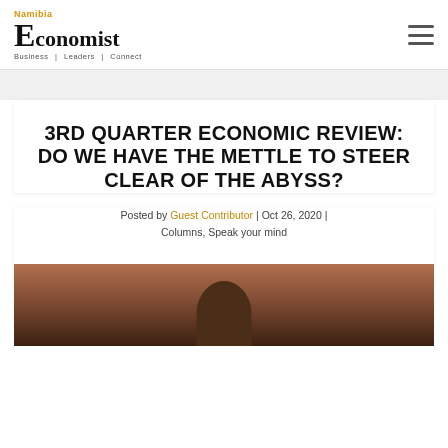Namibia Economist | Business | Leaders | Connect
3RD QUARTER ECONOMIC REVIEW: DO WE HAVE THE METTLE TO STEER CLEAR OF THE ABYSS?
Posted by Guest Contributor | Oct 26, 2020 | Columns, Speak your mind
[Figure (photo): Photograph of a person, partially visible at the bottom of the page, dark warm-toned background]